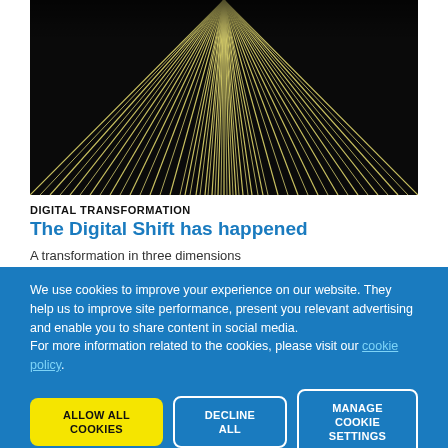[Figure (illustration): Abstract converging diagonal black and white stripes radiating from a vanishing point at the top center, creating a perspective tunnel/vortex effect.]
DIGITAL TRANSFORMATION
The Digital Shift has happened
A transformation in three dimensions
We use cookies to improve your experience on our website. They help us to improve site performance, present you relevant advertising and enable you to share content in social media.
For more information related to the cookies, please visit our cookie policy.
ALLOW ALL COOKIES
DECLINE ALL
MANAGE COOKIE SETTINGS